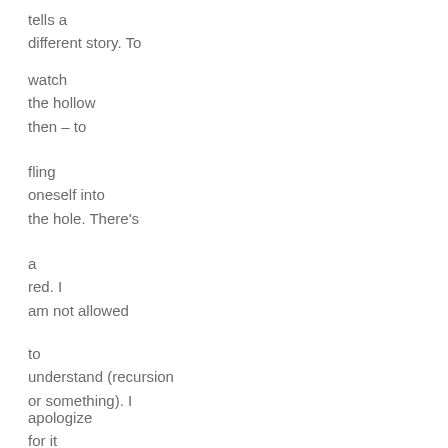tells a
different story. To
watch
the hollow
then – to
fling
oneself into
the hole. There's
a
red. I
am not allowed
to
understand (recursion
or something). I
apologize
for it
being so cold.